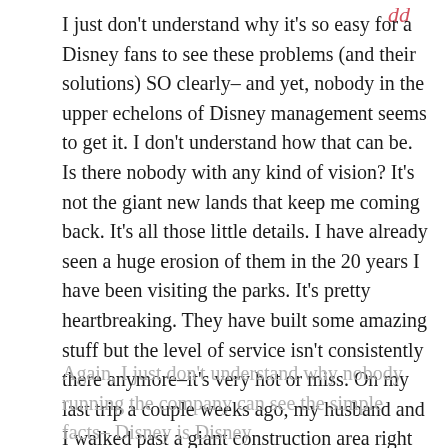I just don't understand why it's so easy for a Disney fans to see these problems (and their solutions) SO clearly– and yet, nobody in the upper echelons of Disney management seems to get it. I don't understand how that can be. Is there nobody with any kind of vision? It's not the giant new lands that keep me coming back. It's all those little details. I have already seen a huge erosion of them in the 20 years I have been visiting the parks. It's pretty heartbreaking. They have built some amazing stuff but the level of service isn't consistently there anymore–it's very hot or miss. On my last trip a couple weeks ago, my husband and I walked past a giant construction area right in the middle of the Magic Kingdom. There were no walls around it. Since when do they do that???
Anyway. I could go on. but I'm preaching to the choir.
Again, I just don't understand why nobody running the company can see the simple facts– Disney is Disney